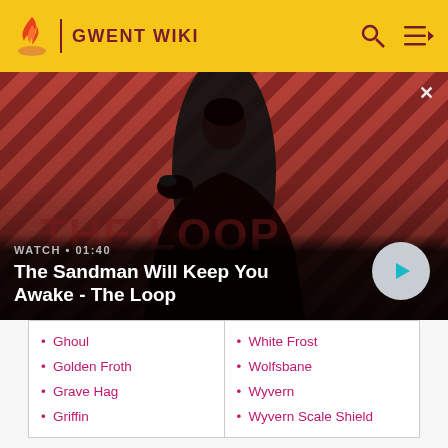GWENT WIKI
[Figure (screenshot): Video thumbnail for 'The Sandman Will Keep You Awake - The Loop' with play button overlay. Shows WATCH • 01:40 label and a man in black coat with a crow on his shoulder against a red striped background.]
Ghoul
Golden Froth
Grave Hag
Griffin
White Frost
Wolfsbane
Wyvern
Wyvern Scale Shield
Cards (Miscellaneous: different versions and